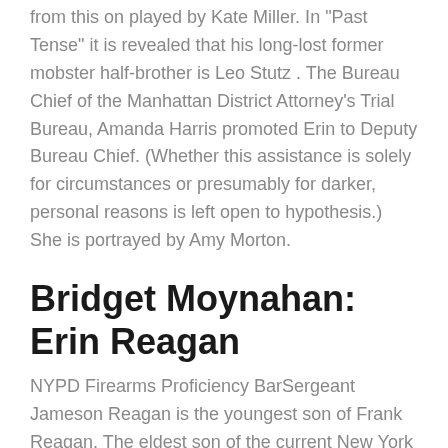from this on played by Kate Miller. In "Past Tense" it is revealed that his long-lost former mobster half-brother is Leo Stutz . The Bureau Chief of the Manhattan District Attorney's Trial Bureau, Amanda Harris promoted Erin to Deputy Bureau Chief. (Whether this assistance is solely for circumstances or presumably for darker, personal reasons is left open to hypothesis.) She is portrayed by Amy Morton.
Bridget Moynahan: Erin Reagan
NYPD Firearms Proficiency BarSergeant Jameson Reagan is the youngest son of Frank Reagan. The eldest son of the current New York City Police Commissioner Frank Reagan and his